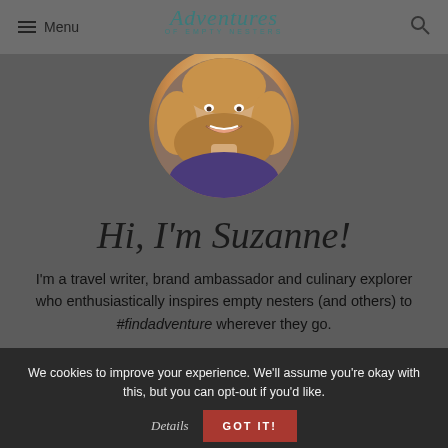Menu | Adventures of Empty Nesters | (search)
[Figure (photo): Circular profile photo of a smiling blonde woman]
Hi, I'm Suzanne!
I'm a travel writer, brand ambassador and culinary explorer who enthusiastically inspires empty nesters (and others) to #findadventure wherever they go.
MEET SUZANNE
We cookies to improve your experience. We'll assume you're okay with this, but you can opt-out if you'd like. Details GOT IT!